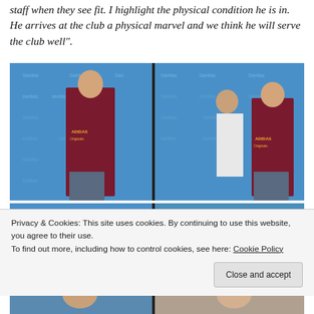staff when they see fit. I highlight the physical condition he is in. He arrives at the club a physical marvel and we think he will serve the club well".
[Figure (photo): Two-panel composite photo showing a young man in a dark red Adidas t-shirt posing in front of Sanitas branded backdrop. Left panel: man standing alone. Right panel: man standing next to a doctor in a white coat.]
[Figure (photo): Partial view of bottom photo strip showing partial images at the bottom of the page, partially obscured by cookie banner.]
Privacy & Cookies: This site uses cookies. By continuing to use this website, you agree to their use.
To find out more, including how to control cookies, see here: Cookie Policy
Close and accept
[Figure (photo): Bottom partial photo strip showing two images partially visible at the very bottom of the page.]